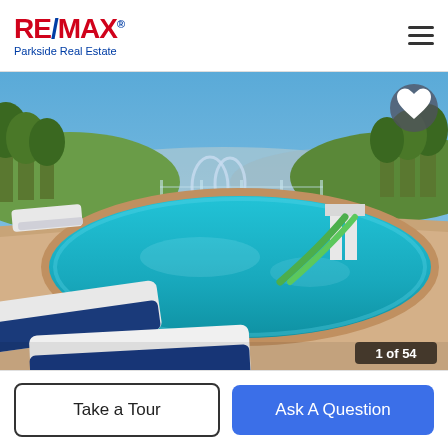RE/MAX Parkside Real Estate
[Figure (photo): Outdoor swimming pool with curved shape, water slide, lounge chairs, trees, and mountain/ocean view in background. Photo counter shows '1 of 54'.]
Take a Tour
Ask A Question